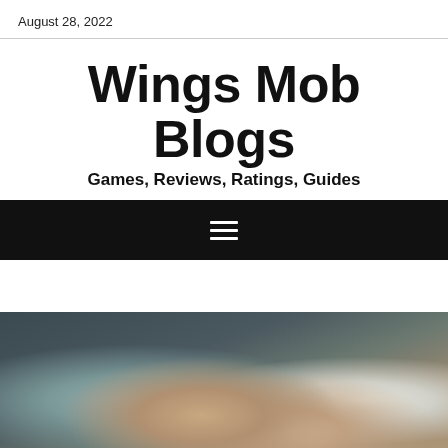August 28, 2022
Wings Mob Blogs
Games, Reviews, Ratings, Guides
[Figure (other): Navigation bar with hamburger menu icon (three horizontal white lines on black background)]
[Figure (photo): Blurred close-up photo of a hand near a laptop keyboard on a brown desk surface]